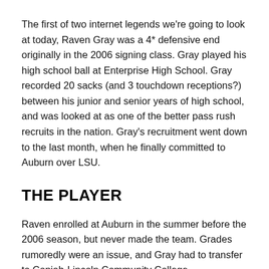The first of two internet legends we're going to look at today, Raven Gray was a 4* defensive end originally in the 2006 signing class. Gray played his high school ball at Enterprise High School. Gray recorded 20 sacks (and 3 touchdown receptions?) between his junior and senior years of high school, and was looked at as one of the better pass rush recruits in the nation. Gray's recruitment went down to the last month, when he finally committed to Auburn over LSU.
THE PLAYER
Raven enrolled at Auburn in the summer before the 2006 season, but never made the team. Grades rumoredly were an issue, and Gray had to transfer to Copiah-Lincoln Community College.